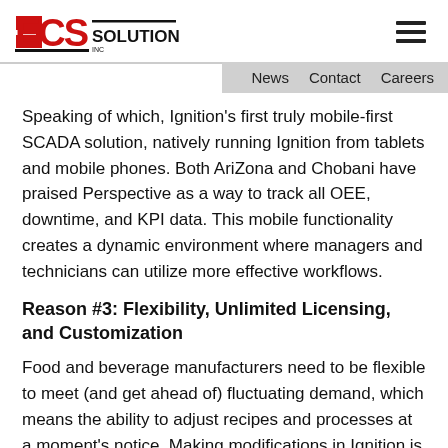[Figure (logo): ECS Solutions Inc. logo with red stylized 'ECS' text and black 'SOLUTIONS' text]
News   Contact   Careers
Speaking of which, Ignition's first truly mobile-first SCADA solution, natively running Ignition from tablets and mobile phones. Both AriZona and Chobani have praised Perspective as a way to track all OEE, downtime, and KPI data. This mobile functionality creates a dynamic environment where managers and technicians can utilize more effective workflows.
Reason #3: Flexibility, Unlimited Licensing, and Customization
Food and beverage manufacturers need to be flexible to meet (and get ahead of) fluctuating demand, which means the ability to adjust recipes and processes at a moment's notice. Making modifications in Ignition is